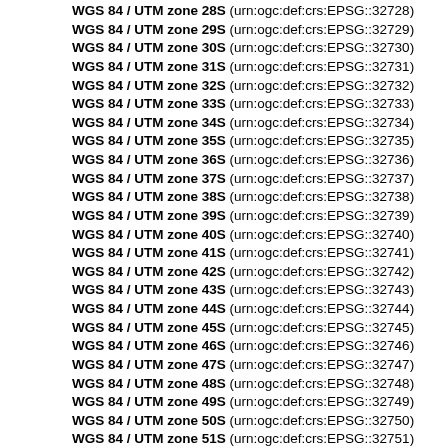WGS 84 / UTM zone 28S (urn:ogc:def:crs:EPSG::32728)
WGS 84 / UTM zone 29S (urn:ogc:def:crs:EPSG::32729)
WGS 84 / UTM zone 30S (urn:ogc:def:crs:EPSG::32730)
WGS 84 / UTM zone 31S (urn:ogc:def:crs:EPSG::32731)
WGS 84 / UTM zone 32S (urn:ogc:def:crs:EPSG::32732)
WGS 84 / UTM zone 33S (urn:ogc:def:crs:EPSG::32733)
WGS 84 / UTM zone 34S (urn:ogc:def:crs:EPSG::32734)
WGS 84 / UTM zone 35S (urn:ogc:def:crs:EPSG::32735)
WGS 84 / UTM zone 36S (urn:ogc:def:crs:EPSG::32736)
WGS 84 / UTM zone 37S (urn:ogc:def:crs:EPSG::32737)
WGS 84 / UTM zone 38S (urn:ogc:def:crs:EPSG::32738)
WGS 84 / UTM zone 39S (urn:ogc:def:crs:EPSG::32739)
WGS 84 / UTM zone 40S (urn:ogc:def:crs:EPSG::32740)
WGS 84 / UTM zone 41S (urn:ogc:def:crs:EPSG::32741)
WGS 84 / UTM zone 42S (urn:ogc:def:crs:EPSG::32742)
WGS 84 / UTM zone 43S (urn:ogc:def:crs:EPSG::32743)
WGS 84 / UTM zone 44S (urn:ogc:def:crs:EPSG::32744)
WGS 84 / UTM zone 45S (urn:ogc:def:crs:EPSG::32745)
WGS 84 / UTM zone 46S (urn:ogc:def:crs:EPSG::32746)
WGS 84 / UTM zone 47S (urn:ogc:def:crs:EPSG::32747)
WGS 84 / UTM zone 48S (urn:ogc:def:crs:EPSG::32748)
WGS 84 / UTM zone 49S (urn:ogc:def:crs:EPSG::32749)
WGS 84 / UTM zone 50S (urn:ogc:def:crs:EPSG::32750)
WGS 84 / UTM zone 51S (urn:ogc:def:crs:EPSG::32751)
WGS 84 / UTM zone 52S (urn:ogc:def:crs:EPSG::32752)
WGS 84 / UTM zone 53S (urn:ogc:def:crs:EPSG::32753)
WGS 84 / UTM zone 54S (urn:ogc:def:crs:EPSG::32754)
WGS 84 / UTM zone 55S (urn:ogc:def:crs:EPSG::32755)
WGS 84 / UTM zone 56S (urn:ogc:def:crs:EPSG::32756)
WGS 84 / UTM zone 57S (urn:ogc:def:crs:EPSG::32757)